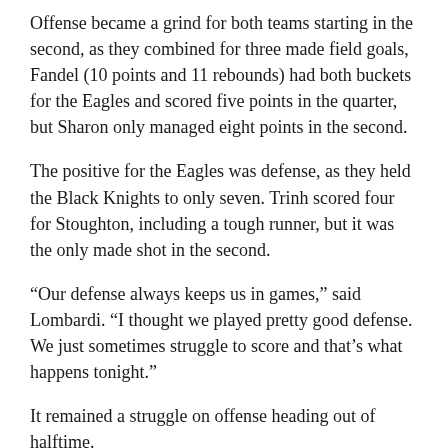Offense became a grind for both teams starting in the second, as they combined for three made field goals, Fandel (10 points and 11 rebounds) had both buckets for the Eagles and scored five points in the quarter, but Sharon only managed eight points in the second.
The positive for the Eagles was defense, as they held the Black Knights to only seven. Trinh scored four for Stoughton, including a tough runner, but it was the only made shot in the second.
“Our defense always keeps us in games,” said Lombardi. “I thought we played pretty good defense. We just sometimes struggle to score and that’s what happens tonight.”
It remained a struggle on offense heading out of halftime.
Sharon made only one shot in the third, a Fandel post move off an assist from Ally Brown, and knocked down three free throws (on eight attempts). Stoughton managed to hit two